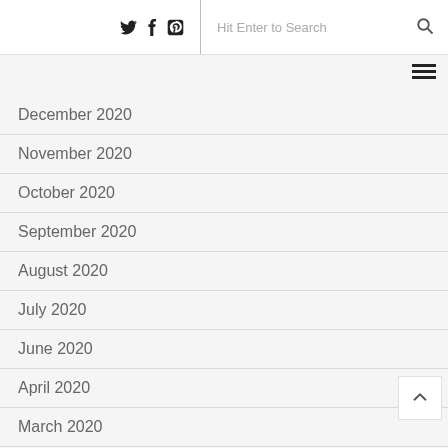Social icons, search bar
December 2020
November 2020
October 2020
September 2020
August 2020
July 2020
June 2020
April 2020
March 2020